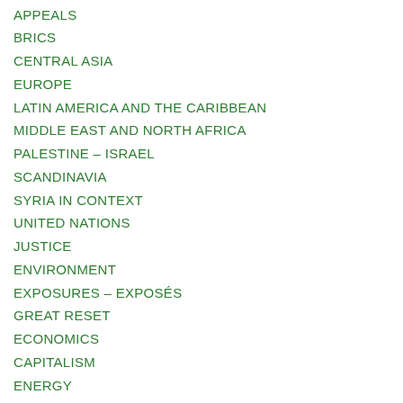APPEALS
BRICS
CENTRAL ASIA
EUROPE
LATIN AMERICA AND THE CARIBBEAN
MIDDLE EAST AND NORTH AFRICA
PALESTINE – ISRAEL
SCANDINAVIA
SYRIA IN CONTEXT
UNITED NATIONS
JUSTICE
ENVIRONMENT
EXPOSURES – EXPOSÉS
GREAT RESET
ECONOMICS
CAPITALISM
ENERGY
ORGANIC, GMO, GENETIC ENGINEERING
REVIEWS
SPORTS
TECHNOLOGY
PARADIGM CHANGES